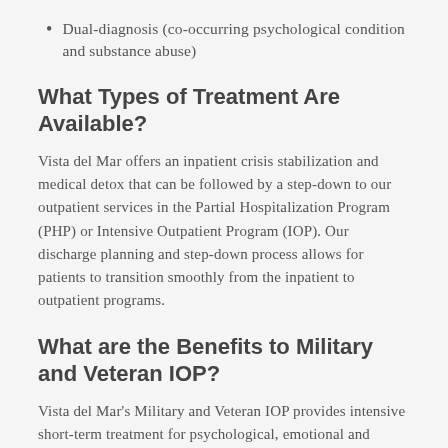Dual-diagnosis (co-occurring psychological condition and substance abuse)
What Types of Treatment Are Available?
Vista del Mar offers an inpatient crisis stabilization and medical detox that can be followed by a step-down to our outpatient services in the Partial Hospitalization Program (PHP) or Intensive Outpatient Program (IOP). Our discharge planning and step-down process allows for patients to transition smoothly from the inpatient to outpatient programs.
What are the Benefits to Military and Veteran IOP?
Vista del Mar’s Military and Veteran IOP provides intensive short-term treatment for psychological, emotional and addiction issues. We offer flexible scheduling to balance treatment needs and everyday responsibilities. Attendance is three days per week,